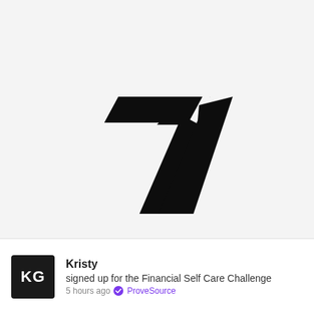[Figure (logo): Seven Network logo — a stylized black '7' shape formed by a trapezoid bar on top and a parallelogram chevron below, on a light grey background]
Kristy
signed up for the Financial Self Care Challenge
5 hours ago • ProveSource